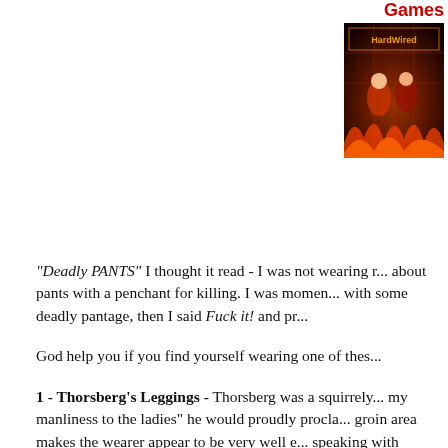Games
[Figure (photo): Cover art for 'HardWired' game showing two characters against a fiery background]
"Deadly PANTS" I thought it read - I was not wearing r... about pants with a penchant for killing. I was momen... with some deadly pantage, then I said Fuck it! and pr...
God help you if you find yourself wearing one of thes...
1 - Thorsberg's Leggings - Thorsberg was a squirrely... my manliness to the ladies" he would proudly procla... groin area makes the wearer appear to be very well e... speaking with women so long as his pants are visible... for a total of one week the wearer will lose all manly ...
2 - Barbarian Breeches - Historically it was believed t... mage made these pants, we hope in jest. Upon donnin...